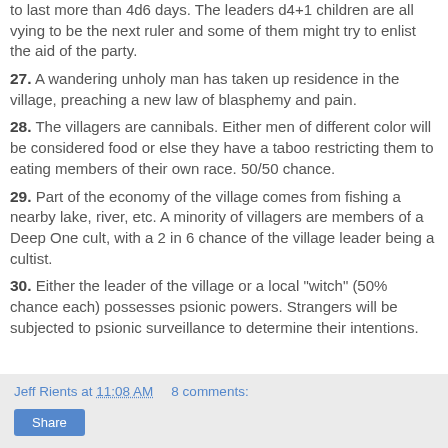to last more than 4d6 days. The leaders d4+1 children are all vying to be the next ruler and some of them might try to enlist the aid of the party.
27. A wandering unholy man has taken up residence in the village, preaching a new law of blasphemy and pain.
28. The villagers are cannibals. Either men of different color will be considered food or else they have a taboo restricting them to eating members of their own race. 50/50 chance.
29. Part of the economy of the village comes from fishing a nearby lake, river, etc. A minority of villagers are members of a Deep One cult, with a 2 in 6 chance of the village leader being a cultist.
30. Either the leader of the village or a local "witch" (50% chance each) possesses psionic powers. Strangers will be subjected to psionic surveillance to determine their intentions.
Jeff Rients at 11:08 AM   8 comments: